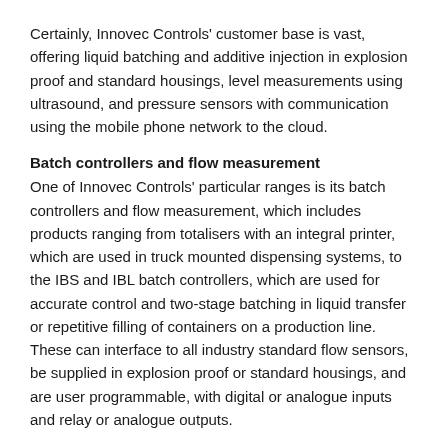Certainly, Innovec Controls' customer base is vast, offering liquid batching and additive injection in explosion proof and standard housings, level measurements using ultrasound, and pressure sensors with communication using the mobile phone network to the cloud.
Batch controllers and flow measurement
One of Innovec Controls' particular ranges is its batch controllers and flow measurement, which includes products ranging from totalisers with an integral printer, which are used in truck mounted dispensing systems, to the IBS and IBL batch controllers, which are used for accurate control and two-stage batching in liquid transfer or repetitive filling of containers on a production line. These can interface to all industry standard flow sensors, be supplied in explosion proof or standard housings, and are user programmable, with digital or analogue inputs and relay or analogue outputs.
With a continuous programme of research, development and innovation, Innovec Controls has released a new version of its IBS Batch Controller, which features numeric data entry. The IBS is an 85-265VAC or 12-40VDC powered batch controller for liquids, incorporating a Blue Graphical OLED display. It can be configured from the front panel to batch volumes ranging from 0.001 to